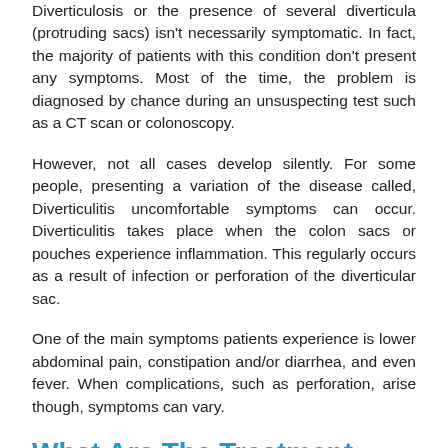Diverticulosis or the presence of several diverticula (protruding sacs) isn't necessarily symptomatic. In fact, the majority of patients with this condition don't present any symptoms. Most of the time, the problem is diagnosed by chance during an unsuspecting test such as a CT scan or colonoscopy.
However, not all cases develop silently. For some people, presenting a variation of the disease called, Diverticulitis uncomfortable symptoms can occur. Diverticulitis takes place when the colon sacs or pouches experience inflammation. This regularly occurs as a result of infection or perforation of the diverticular sac.
One of the main symptoms patients experience is lower abdominal pain, constipation and/or diarrhea, and even fever. When complications, such as perforation, arise though, symptoms can vary.
What Are The Treatment Options?